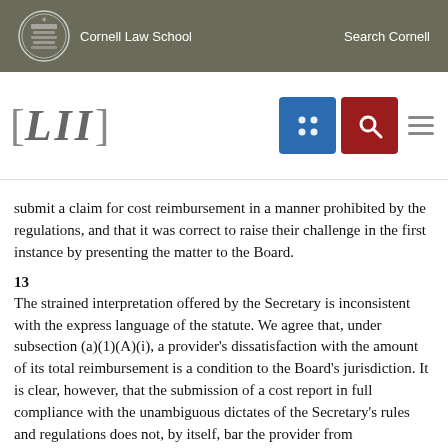Cornell Law School | Search Cornell
[LII]
submit a claim for cost reimbursement in a manner prohibited by the regulations, and that it was correct to raise their challenge in the first instance by presenting the matter to the Board.
13
The strained interpretation offered by the Secretary is inconsistent with the express language of the statute. We agree that, under subsection (a)(1)(A)(i), a provider's dissatisfaction with the amount of its total reimbursement is a condition to the Board's jurisdiction. It is clear, however, that the submission of a cost report in full compliance with the unambiguous dictates of the Secretary's rules and regulations does not, by itself, bar the provider from